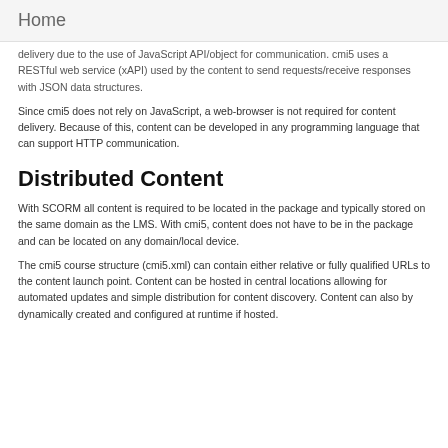Home
delivery due to the use of JavaScript API/object for communication. cmi5 uses a RESTful web service (xAPI) used by the content to send requests/receive responses with JSON data structures.
Since cmi5 does not rely on JavaScript, a web-browser is not required for content delivery. Because of this, content can be developed in any programming language that can support HTTP communication.
Distributed Content
With SCORM all content is required to be located in the package and typically stored on the same domain as the LMS. With cmi5, content does not have to be in the package and can be located on any domain/local device.
The cmi5 course structure (cmi5.xml) can contain either relative or fully qualified URLs to the content launch point. Content can be hosted in central locations allowing for automated updates and simple distribution for content discovery. Content can also by dynamically created and configured at runtime if hosted.